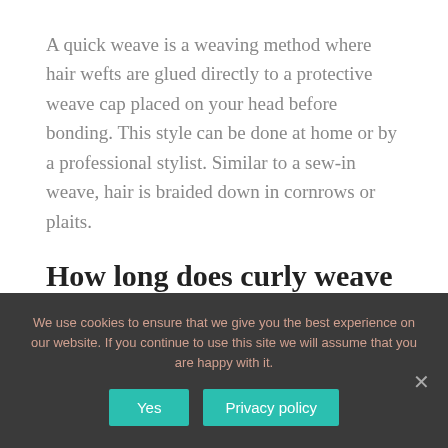A quick weave is a weaving method where hair wefts are glued directly to a protective weave cap placed on your head before bonding. This style can be done at home or by a professional stylist. Similar to a sew-in weave, hair is braided down in cornrows or plaits.
How long does curly weave last?
Be prepared to keep the hair moisturized. Depending on the type of hair you buy, it may get dry. Keep it wrapped up at night so your pillowcase
We use cookies to ensure that we give you the best experience on our website. If you continue to use this site we will assume that you are happy with it.